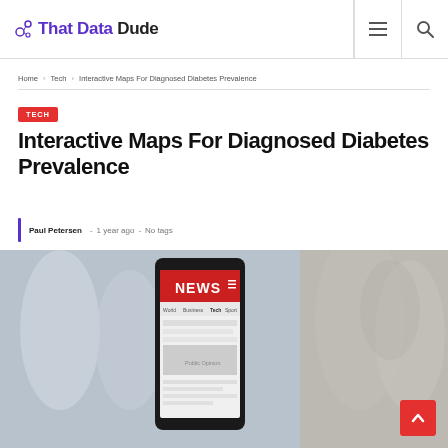That Data Dude
Home › Tech › Interactive Maps For Diagnosed Diabetes Prevalence
Interactive Maps For Diagnosed Diabetes Prevalence
Paul Petersen  -  1 year ago  -  No tags
[Figure (photo): Hero image showing a smartphone displaying a news app with 'NEWS' on screen, blurred crowd background]